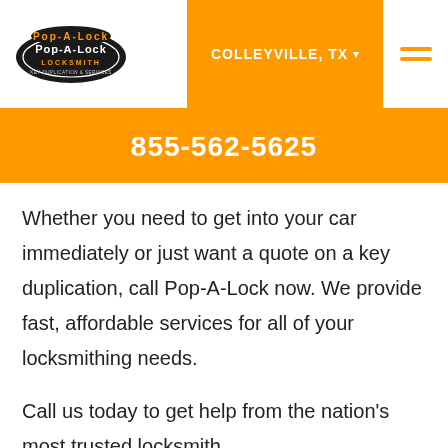[Figure (logo): Pop-A-Lock Locksmith logo — oval shape with pop-a-lock text]
COLLEYVILLE, TX ▾
855-562-5625
Whether you need to get into your car immediately or just want a quote on a key duplication, call Pop-A-Lock now. We provide fast, affordable services for all of your locksmithing needs.
Call us today to get help from the nation's most trusted locksmith.